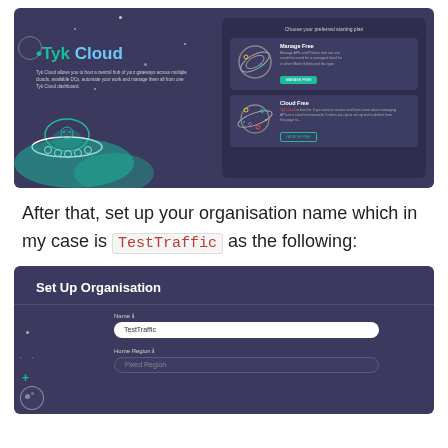[Figure (screenshot): Tyk Cloud signup/plan selection UI screenshot with space theme, UFO illustration, 'Manage Free' and 'Cloud Free' plan cards]
After that, set up your organisation name which in my case is TestTraffic as the following:
[Figure (screenshot): Set Up Organisation form screenshot with Name field filled as TestTraffic and Home Region field showing Fixed Region placeholder]